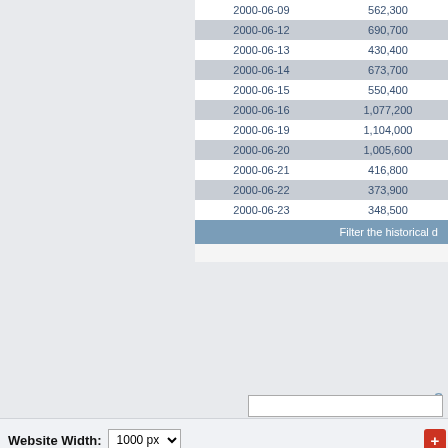| Date | Volume |
| --- | --- |
| 2000-06-09 | 562,300 |
| 2000-06-12 | 690,700 |
| 2000-06-13 | 430,400 |
| 2000-06-14 | 673,700 |
| 2000-06-15 | 550,400 |
| 2000-06-16 | 1,077,200 |
| 2000-06-19 | 1,104,000 |
| 2000-06-20 | 1,005,600 |
| 2000-06-21 | 416,800 |
| 2000-06-22 | 373,900 |
| 2000-06-23 | 348,500 |
Filter the historical d
S
Website Width: 1000 px
Tweet
Background image: Image 05
[Figure (photo): Textured reddish-pink background image strip]